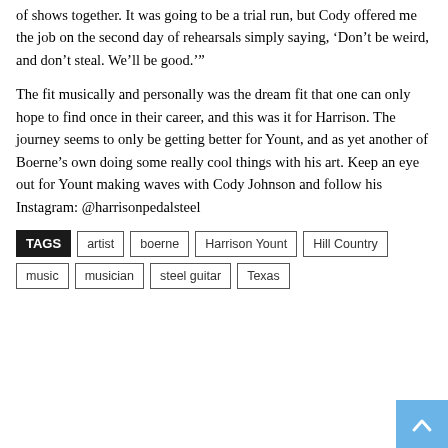of shows together. It was going to be a trial run, but Cody offered me the job on the second day of rehearsals simply saying, ‘Don’t be weird, and don’t steal. We’ll be good.’”
The fit musically and personally was the dream fit that one can only hope to find once in their career, and this was it for Harrison. The journey seems to only be getting better for Yount, and as yet another of Boerne’s own doing some really cool things with his art. Keep an eye out for Yount making waves with Cody Johnson and follow his Instagram: @harrisonpedalsteel
TAGS  artist  boerne  Harrison Yount  Hill Country  music  musician  steel guitar  Texas